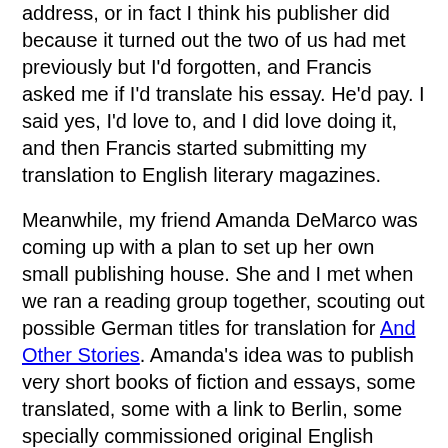address, or in fact I think his publisher did because it turned out the two of us had met previously but I'd forgotten, and Francis asked me if I'd translate his essay. He'd pay. I said yes, I'd love to, and I did love doing it, and then Francis started submitting my translation to English literary magazines.
Meanwhile, my friend Amanda DeMarco was coming up with a plan to set up her own small publishing house. She and I met when we ran a reading group together, scouting out possible German titles for translation for And Other Stories. Amanda's idea was to publish very short books of fiction and essays, some translated, some with a link to Berlin, some specially commissioned original English writing. Thus, after months and months of advice-seeking and talking and planning and working, working, working, Readux Books was born. Amanda asked me whether I'd like to translate something for her. She'd pay. I said yes, I'd love to, and we started talking about what to choose. I sent her the German version of Francis's essay, but for some reason I didn't tell her I'd already translated it. And she'd heard about it but not read it, but when she did she liked it as much as I did, so she